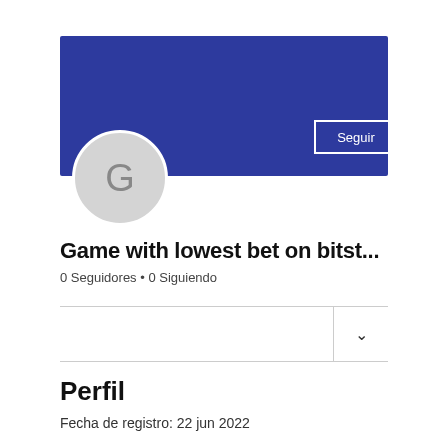[Figure (screenshot): Blue banner/header background for user profile]
[Figure (illustration): Gray circular avatar with letter G]
Seguir
Game with lowest bet on bitst...
0 Seguidores • 0 Siguiendo
Perfil
Fecha de registro: 22 jun 2022